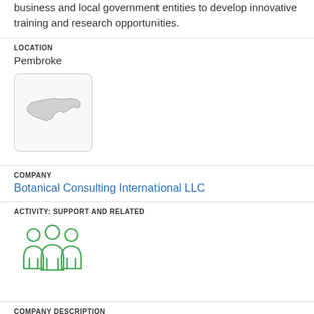business and local government entities to develop innovative training and research opportunities.
LOCATION
Pembroke
[Figure (map): Small thumbnail map showing outline of North Carolina state]
COMPANY
Botanical Consulting International LLC
ACTIVITY: SUPPORT AND RELATED
[Figure (illustration): Green icon of three people/group standing together]
COMPANY DESCRIPTION
Botanical Consulting International provides consulting services for